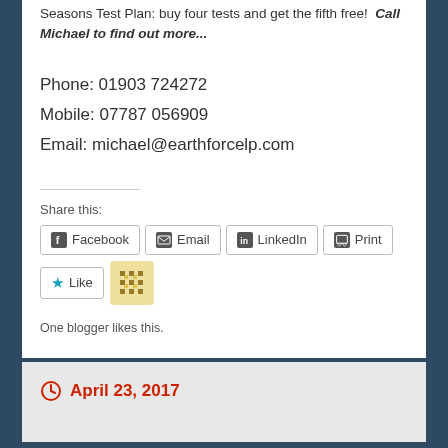Seasons Test Plan: buy four tests and get the fifth free!  Call Michael to find out more...
Phone: 01903 724272
Mobile: 07787 056909
Email: michael@earthforcelp.com
Share this:
Facebook | Email | LinkedIn | Print
Like
One blogger likes this.
April 23, 2017